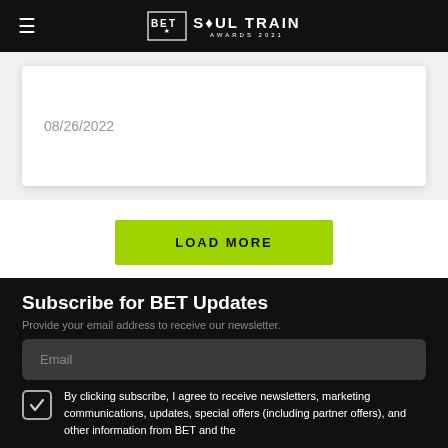BET Soul Train Awards 2021
08/26/2022
LOAD MORE
Subscribe for BET Updates
Provide your email address to receive our newsletter.
Email
By clicking subscribe, I agree to receive newsletters, marketing communications, updates, special offers (including partner offers), and other information from BET and the